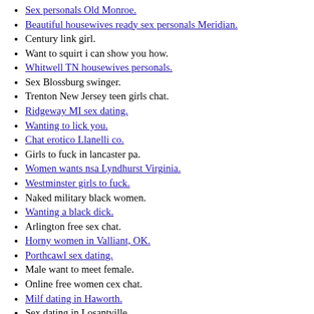Sex personals Old Monroe.
Beautiful housewives ready sex personals Meridian.
Century link girl.
Want to squirt i can show you how.
Whitwell TN housewives personals.
Sex Blossburg swinger.
Trenton New Jersey teen girls chat.
Ridgeway MI sex dating.
Wanting to lick you.
Chat erotico Llanelli co.
Girls to fuck in lancaster pa.
Women wants nsa Lyndhurst Virginia.
Westminster girls to fuck.
Naked military black women.
Wanting a black dick.
Arlington free sex chat.
Horny women in Valliant, OK.
Porthcawl sex dating.
Male want to meet female.
Online free women cex chat.
Milf dating in Haworth.
Sex dating in Losantville.
for : student sex party virgin